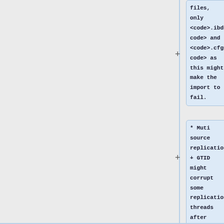files, only <code>.ibd</code> and <code>.cfg</code> as this might make the import to fail.
* Muti source replication + GTID might corrupt some replication threads after stopping it.